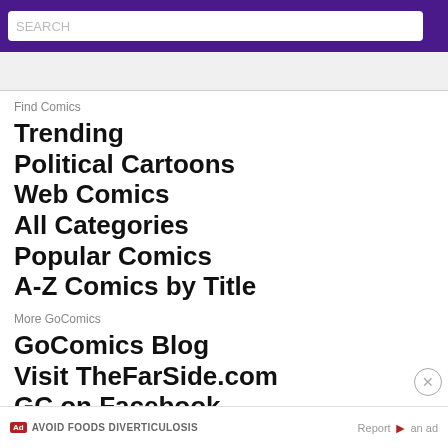GoComics search header with purple bar and search box
Find Comics
Trending
Political Cartoons
Web Comics
All Categories
Popular Comics
A-Z Comics by Title
More GoComics
GoComics Blog
Visit TheFarSide.com
GC on Facebook
AVOID FOODS DIVERTICULOSIS   Report an ad